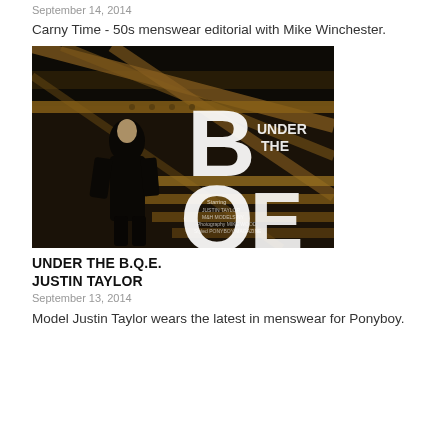September 14, 2014
Carny Time - 50s menswear editorial with Mike Winchester.
[Figure (photo): Fashion editorial photo of a model in dark clothing standing under a bridge with large text overlay reading 'UNDER THE B.Q.E.' and production credits visible]
UNDER THE B.Q.E. JUSTIN TAYLOR
September 13, 2014
Model Justin Taylor wears the latest in menswear for Ponyboy.